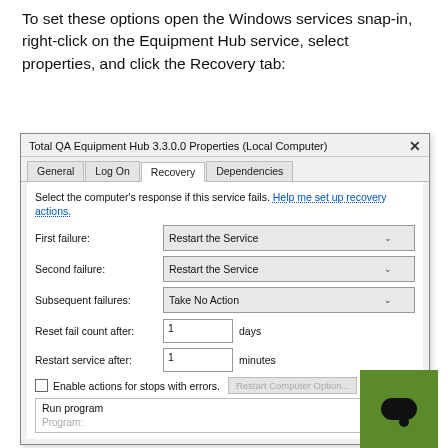To set these options open the Windows services snap-in, right-click on the Equipment Hub service, select properties, and click the Recovery tab:
[Figure (screenshot): Windows service properties dialog showing 'Total QA Equipment Hub 3.3.0.0 Properties (Local Computer)' with Recovery tab selected. Shows dropdowns for First failure: Restart the Service, Second failure: Restart the Service, Subsequent failures: Take No Action. Input fields for Reset fail count after: 1 days, Restart service after: 1 minutes. Checkbox for Enable actions for stops with errors (unchecked). Run program section with Program field. A green chat widget overlays the bottom right.]